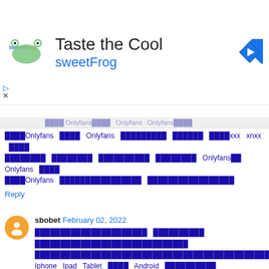[Figure (advertisement): SweetFrog advertisement banner with logo, title 'Taste the Cool', subtitle 'sweetFrog', navigation diamond icon on right]
onlyfans... onlyfans... (Thai script comment text with Onlyfans, xxx, xnxx references)
Reply
sbobet February 02, 2022
Thai script comment text mentioning Iphone Ipad Tablet Android
Reply
newsupdate101 February 03, 2022